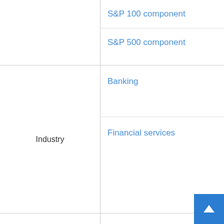|  |  |
| --- | --- |
|  | S&P 100 component
S&P 500 component |
| Industry | Banking
Financial services |
| Predecessor | Livingston, Fargo & Company
Wells, Butterfield & Company |